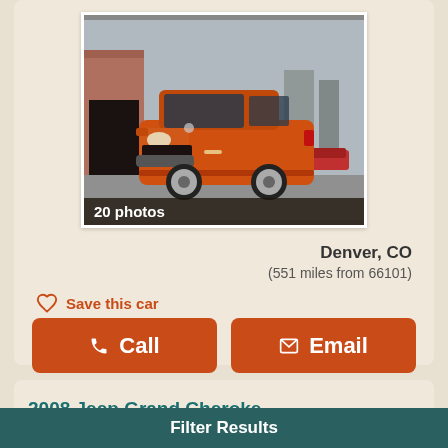[Figure (photo): Orange Saturn Vue SUV parked in a lot, front three-quarter view. Photo has a dark overlay banner at the bottom.]
20 photos
Denver, CO
(551 miles from 66101)
Save this car
Call
Email
2008 Jeep Grand Cheroke...
Filter Results